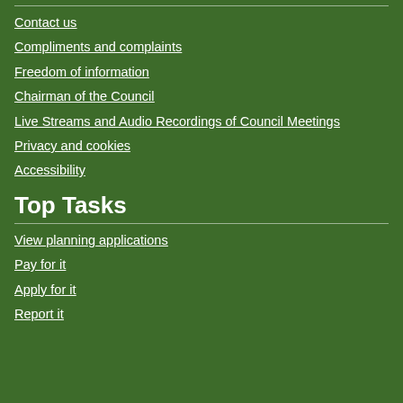Contact us
Compliments and complaints
Freedom of information
Chairman of the Council
Live Streams and Audio Recordings of Council Meetings
Privacy and cookies
Accessibility
Top Tasks
View planning applications
Pay for it
Apply for it
Report it